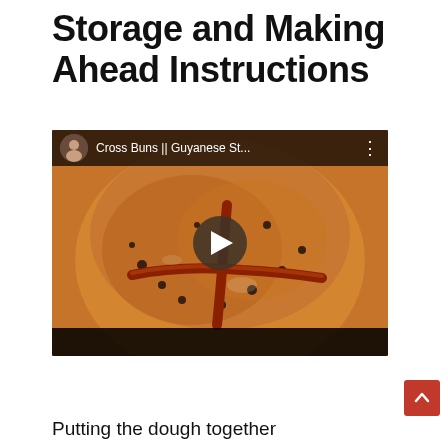Storage and Making Ahead Instructions
[Figure (screenshot): YouTube video thumbnail showing a hot cross bun with a cross pattern, video title 'Cross Buns || Guyanese St...' with channel avatar and play button overlay]
Putting the dough together